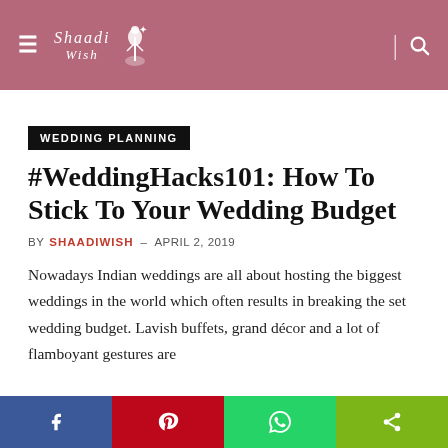Shaadi Wish – Wedding Planning Blog Header
WEDDING PLANNING
#WeddingHacks101: How To Stick To Your Wedding Budget
BY SHAADIWISH – APRIL 2, 2019
Nowadays Indian weddings are all about hosting the biggest weddings in the world which often results in breaking the set wedding budget. Lavish buffets, grand décor and a lot of flamboyant gestures are
Social share bar: Facebook, Pinterest, WhatsApp, Share